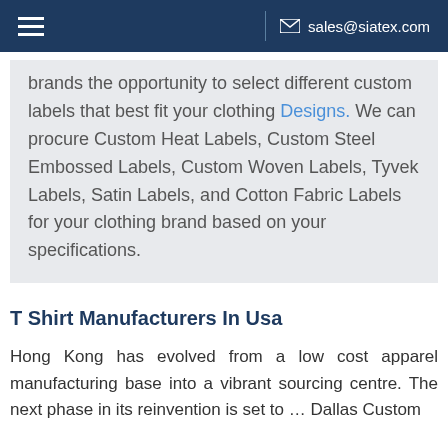sales@siatex.com
brands the opportunity to select different custom labels that best fit your clothing Designs. We can procure Custom Heat Labels, Custom Steel Embossed Labels, Custom Woven Labels, Tyvek Labels, Satin Labels, and Cotton Fabric Labels for your clothing brand based on your specifications.
T Shirt Manufacturers In Usa
Hong Kong has evolved from a low cost apparel manufacturing base into a vibrant sourcing centre. The next phase in its reinvention is set to … Dallas Custom